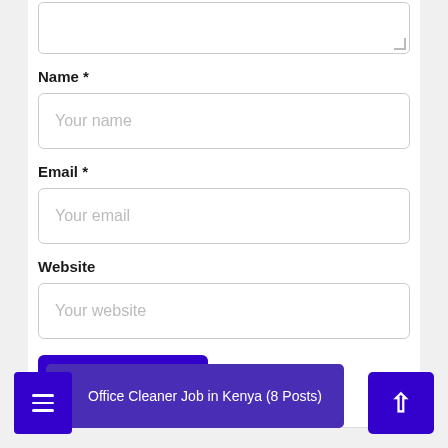[Figure (screenshot): Top portion of a comment form showing a partially visible textarea with resize handle]
Name *
[Figure (screenshot): Name input field with placeholder text 'Your name']
Email *
[Figure (screenshot): Email input field with placeholder text 'Your email']
Website
[Figure (screenshot): Website input field with placeholder text 'Your website']
[Figure (screenshot): Post Comment button (dark blue/indigo)]
Office Cleaner Job in Kenya (8 Posts)